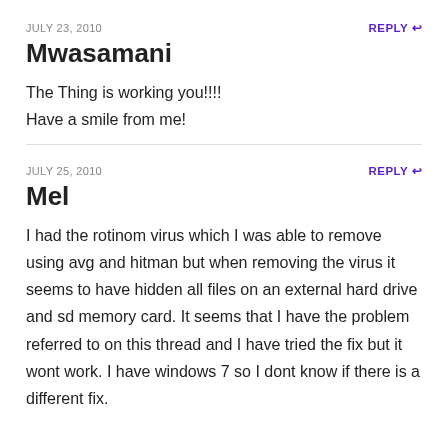JULY 23, 2010
Mwasamani
The Thing is working you!!!!
Have a smile from me!
JULY 25, 2010
Mel
I had the rotinom virus which I was able to remove using avg and hitman but when removing the virus it seems to have hidden all files on an external hard drive and sd memory card. It seems that I have the problem referred to on this thread and I have tried the fix but it wont work. I have windows 7 so I dont know if there is a different fix.